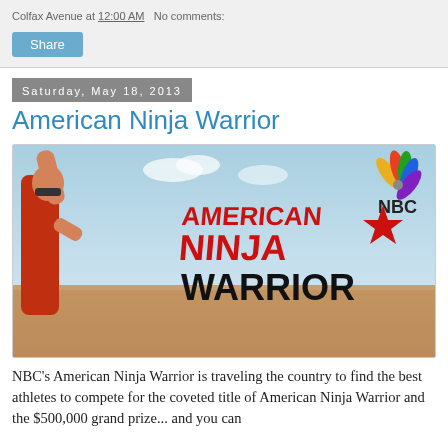Colfax Avenue at 12:00 AM   No comments:
Share
Saturday, May 18, 2013
American Ninja Warrior
[Figure (photo): American Ninja Warrior promotional image showing an athlete in red tank top and sunglasses raising his arm, with the American Ninja Warrior logo in red and black text and NBC peacock logo in the top right corner, crowd in background]
NBC's American Ninja Warrior is traveling the country to find the best athletes to compete for the coveted title of American Ninja Warrior and the $500,000 grand prize... and you can